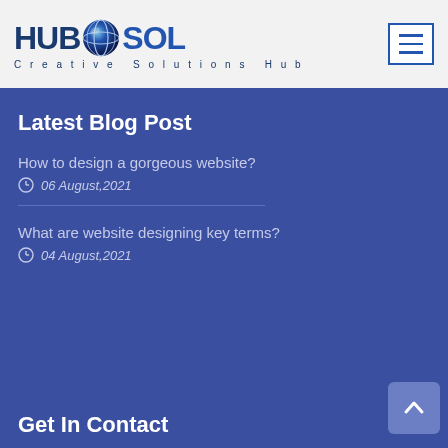[Figure (logo): HUBSOL Creative Solutions Hub logo with globe graphic]
Latest Blog Post
How to design a gorgeous website?
06 August,2021
What are website designing key terms?
04 August,2021
Get In Contact